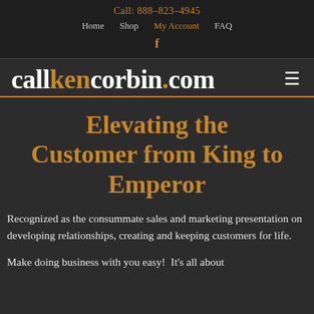Call: 888-823-4945
Home  Shop  My Account  FAQ
f
callkencorbin.com
Elevating the Customer from King to Emperor
Recognized as the consummate sales and marketing presentation on developing relationships, creating and keeping customers for life.
Make doing business with you easy!  It's all about